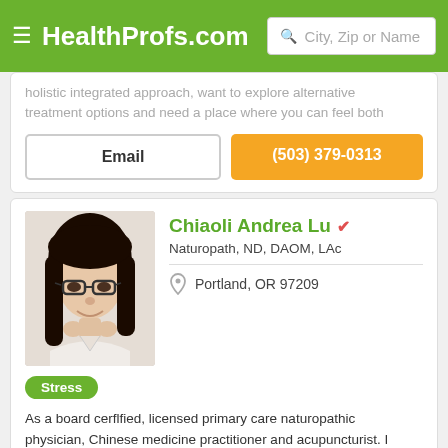HealthProfs.com | City, Zip or Name
holistic integrated approach, want to explore alternative treatment options and need a place where you can feel both
Email
(503) 379-0313
Chiaoli Andrea Lu
Naturopath, ND, DAOM, LAc
Portland, OR 97209
[Figure (photo): Profile photo of Chiaoli Andrea Lu, a woman with long black hair and glasses, smiling]
Stress
As a board cerflfied, licensed primary care naturopathic physician, Chinese medicine practitioner and acupuncturist. I am committed to helping my patients by finding root causes and